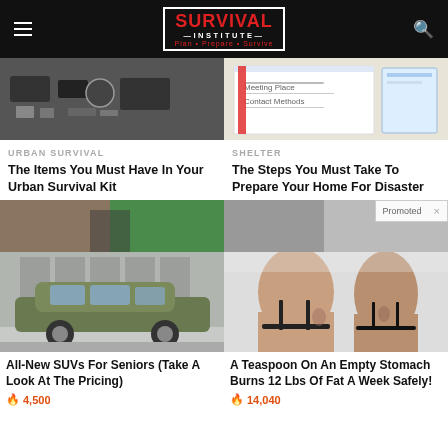SURVIVAL INSTITUTE — Plan · Prepare · Survive
[Figure (photo): Top-down flat lay of survival gear items on a dark surface]
[Figure (photo): Emergency plan document with handwritten fields: Meeting Place, Contact Methods]
URBAN SURVIVAL
The Items You Must Have In Your Urban Survival Kit
SHELTER
The Steps You Must Take To Prepare Your Home For Disaster
[Figure (photo): Partial view of survival gear or outdoor scene]
[Figure (photo): Partial view with Promoted badge overlay]
[Figure (photo): Green olive SUV (Kia Telluride or similar) parked in front of industrial windows]
All-New SUVs For Seniors (Take A Look At The Pricing)
🔥 4,500
[Figure (photo): Before and after photo of two women's backs showing weight loss transformation]
A Teaspoon On An Empty Stomach Burns 12 Lbs Of Fat A Week Safely!
🔥 14,040